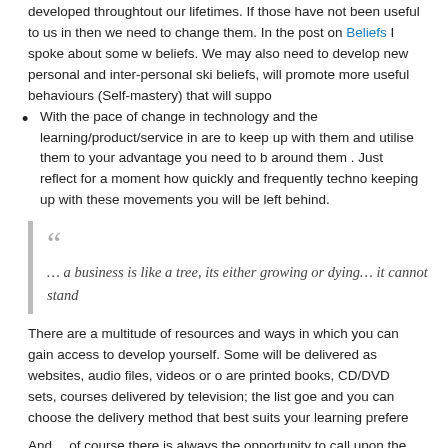developed throughtout our lifetimes. If those have not been useful to us in then we need to change them. In the post on Beliefs I spoke about some w beliefs. We may also need to develop new personal and inter-personal ski beliefs, will promote more useful behaviours (Self-mastery) that will suppo
With the pace of change in technology and the learning/product/service in are to keep up with them and utilise them to your advantage you need to b around them . Just reflect for a moment how quickly and frequently techno keeping up with these movements you will be left behind.
... a business is like a tree, its either growing or dying... it cannot stand
There are a multitude of resources and ways in which you can gain access to develop yourself. Some will be delivered as websites, audio files, videos or c are printed books, CD/DVD sets, courses delivered by television; the list goe and you can choose the delivery method that best suits your learning prefere
And... of course there is always the opportunity to call upon the skills and kn which is a subject we will cover in the next post
[Figure (photo): Photo of books and papers on a wall or shelf with a warm beige/tan background]